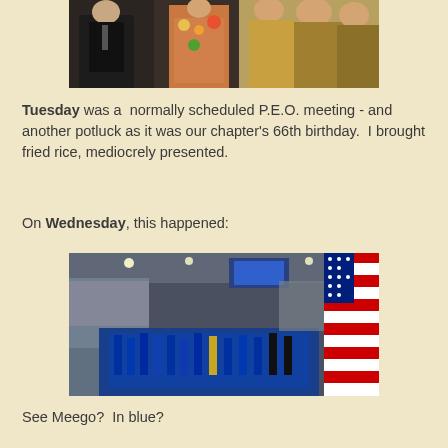[Figure (photo): People seated in chairs, appears to be an audience or event attendees, partial view cropped at top]
Tuesday was a normally scheduled P.E.O. meeting - and another potluck as it was our chapter's 66th birthday. I brought fried rice, mediocrely presented.
On Wednesday, this happened:
[Figure (photo): Graduation ceremony in a large arena with students in blue caps and gowns, large American flag visible on right side]
See Meego? In blue?